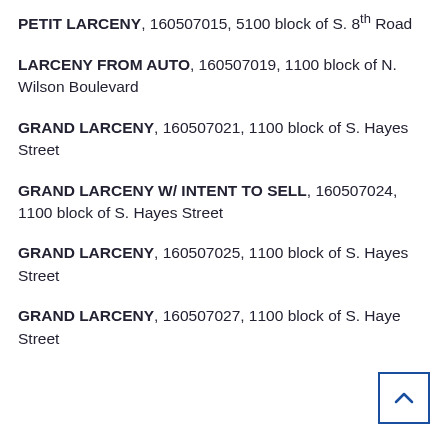PETIT LARCENY, 160507015, 5100 block of S. 8th Road
LARCENY FROM AUTO, 160507019, 1100 block of N. Wilson Boulevard
GRAND LARCENY, 160507021, 1100 block of S. Hayes Street
GRAND LARCENY W/ INTENT TO SELL, 160507024, 1100 block of S. Hayes Street
GRAND LARCENY, 160507025, 1100 block of S. Hayes Street
GRAND LARCENY, 160507027, 1100 block of S. Hayes Street